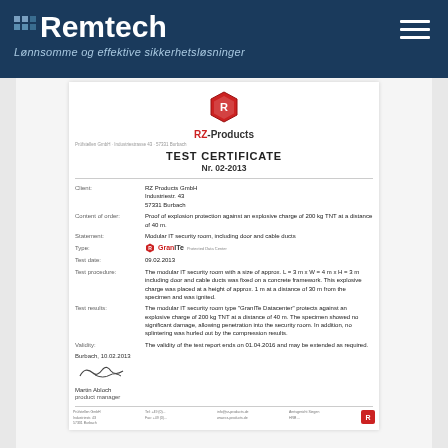[Figure (logo): Remtech company logo with tagline on dark blue background]
[Figure (logo): RZ-Products logo with hexagonal icon]
TEST CERTIFICATE
Nr. 02-2013
Client: RZ Products GmbH, Industriestr. 43, 57331 Burbach
Content of order: Proof of explosion protection against an explosive charge of 200 kg TNT at a distance of 40 m.
Statement: Modular IT security room, including door and cable ducts
Type: GranITe Protected Data Center
Test date: 09.02.2013
Test procedure: The modular IT security room with a size of approx. L = 3 m x W = 4 m x H = 3 m including door and cable ducts was fixed on a concrete framework. The explosive charge was placed at a height of approx. 1 m at a distance of 30 m from the specimen and was ignited.
Test results: The modular IT security room type "GranITe Datacenter" protects against an explosive charge of 200 kg TNT at a distance of 40 m. The specimen showed no significant damage, allowing penetration into the security room. In addition, no splintering was hurled out by the compression results.
Validity: The validity of the test report ends on 01.04.2016 and may be extended as required.
Burbach, 10.02.2013
Martin Abloch
product manager